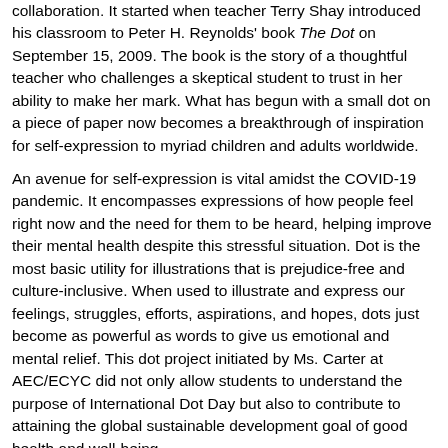collaboration. It started when teacher Terry Shay introduced his classroom to Peter H. Reynolds' book The Dot on September 15, 2009. The book is the story of a thoughtful teacher who challenges a skeptical student to trust in her ability to make her mark. What has begun with a small dot on a piece of paper now becomes a breakthrough of inspiration for self-expression to myriad children and adults worldwide.
An avenue for self-expression is vital amidst the COVID-19 pandemic. It encompasses expressions of how people feel right now and the need for them to be heard, helping improve their mental health despite this stressful situation. Dot is the most basic utility for illustrations that is prejudice-free and culture-inclusive. When used to illustrate and express our feelings, struggles, efforts, aspirations, and hopes, dots just become as powerful as words to give us emotional and mental relief. This dot project initiated by Ms. Carter at AEC/ECYC did not only allow students to understand the purpose of International Dot Day but also to contribute to attaining the global sustainable development goal of good health and well-being.